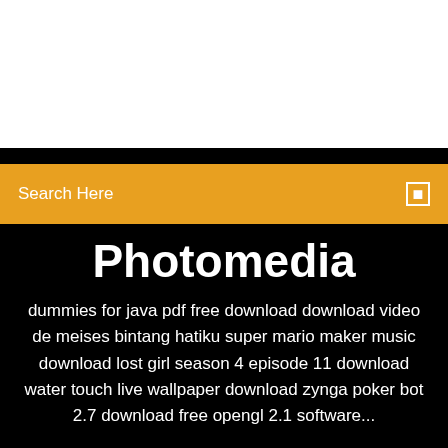[Figure (screenshot): White blank area at the top of the page]
Search Here
Photomedia
dummies for java pdf free download download video de meises bintang hatiku super mario maker music download lost girl season 4 episode 11 download water touch live wallpaper download zynga poker bot 2.7 download free opengl 2.1 software...
[Figure (illustration): Three circular social media icons: Facebook (dark blue), Twitter (blue), Instagram (light blue)]